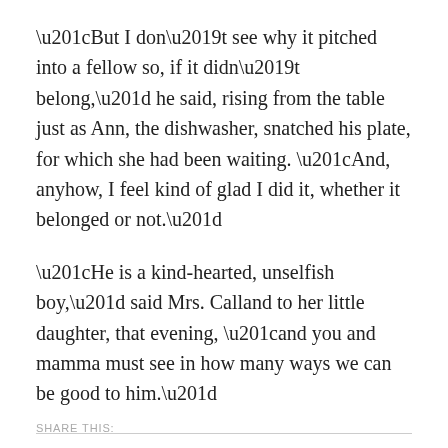“But I don’t see why it pitched into a fellow so, if it didn’t belong,” he said, rising from the table just as Ann, the dishwasher, snatched his plate, for which she had been waiting. “And, anyhow, I feel kind of glad I did it, whether it belonged or not.”
“He is a kind-hearted, unselfish boy,” said Mrs. Calland to her little daughter, that evening, “and you and mamma must see in how many ways we can be good to him.”
Next week: Chapter 2
SHARE THIS: